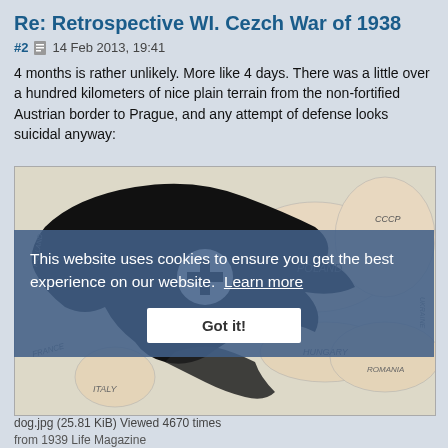Re: Retrospective WI. Cezch War of 1938
#2  14 Feb 2013, 19:41
4 months is rather unlikely. More like 4 days. There was a little over a hundred kilometers of nice plain terrain from the non-fortified Austrian border to Prague, and any attempt of defense looks suicidal anyway:
[Figure (map): Historical map showing Nazi Germany (black area with swastika) expansion toward Czechoslovakia, with surrounding countries labeled: Poland, CCCP (USSR), Hungary, Romania, Italy, Austria, and others. An eagle-shaped black territory dominates the center-left of the map.]
This website uses cookies to ensure you get the best experience on our website.  Learn more
Got it!
dog.jpg (25.81 KiB) Viewed 4670 times
from 1939 Life Magazine